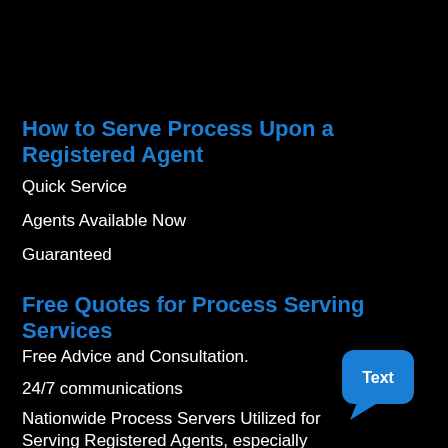How to Serve Process Upon a Registered Agent
Quick Service
Agents Available Now
Guaranteed
Free Quotes for Process Serving Services
Free Advice and Consultation.
24/7 communications
Nationwide Process Servers Utilized for Serving Registered Agents, especially Registered Entities
[Figure (illustration): Blue speech bubble chat icon with 'Text' label in white]